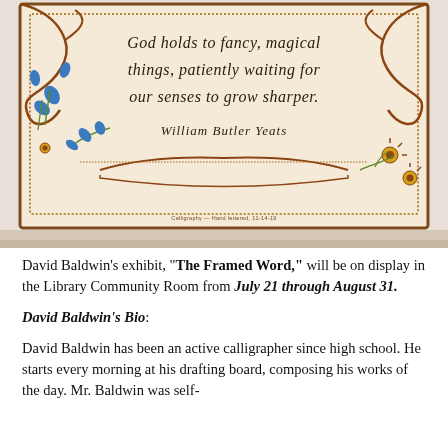[Figure (photo): A calligraphic artwork with ornate illustrated border featuring scrollwork, blue floral motifs, and decorative elements on aged parchment-colored background. The calligraphy reads a William Butler Yeats quote: 'God holds to fancy magical things, patiently waiting for our senses to grow sharper. William Butler Yeats']
David Baldwin's exhibit, "The Framed Word," will be on display in the Library Community Room from July 21 through August 31.
David Baldwin's Bio:
David Baldwin has been an active calligrapher since high school. He starts every morning at his drafting board, composing his works of the day. Mr. Baldwin was self-